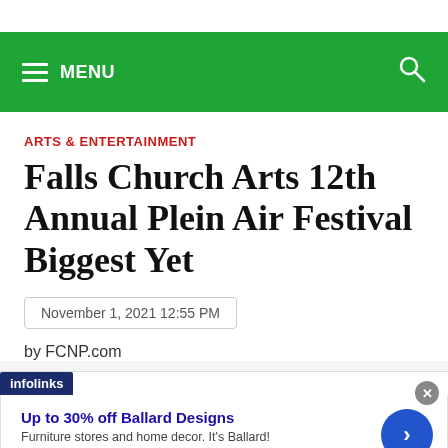MENU (navigation bar with hamburger icon and search icon)
ARTS & ENTERTAINMENT
Falls Church Arts 12th Annual Plein Air Festival Biggest Yet
November 1, 2021 12:55 PM
by FCNP.com
[Figure (screenshot): infolinks advertisement banner: 'Up to 30% off Ballard Designs' — Furniture stores and home decor. It's Ballard! ballarddesigns.com — with blue arrow button and close (x) button]